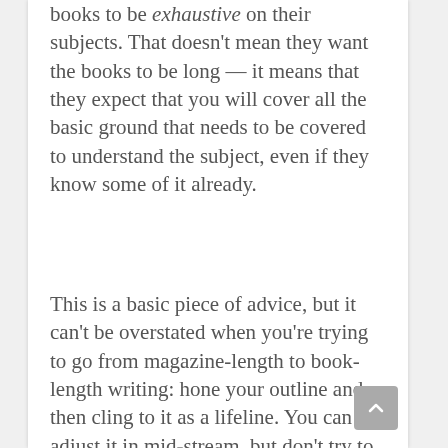books to be exhaustive on their subjects. That doesn't mean they want the books to be long — it means that they expect that you will cover all the basic ground that needs to be covered to understand the subject, even if they know some of it already.
This is a basic piece of advice, but it can't be overstated when you're trying to go from magazine-length to book-length writing: hone your outline and then cling to it as a lifeline. You can adjust it in mid-stream, but don't try to just write your way into a better structure; think about the right